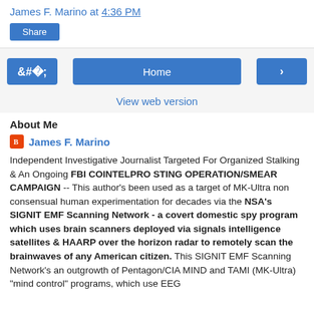James F. Marino at 4:36 PM
Share
‹  Home  ›
View web version
About Me
James F. Marino
Independent Investigative Journalist Targeted For Organized Stalking & An Ongoing FBI COINTELPRO STING OPERATION/SMEAR CAMPAIGN -- This author's been used as a target of MK-Ultra non consensual human experimentation for decades via the NSA's SIGNIT EMF Scanning Network - a covert domestic spy program which uses brain scanners deployed via signals intelligence satellites & HAARP over the horizon radar to remotely scan the brainwaves of any American citizen. This SIGNIT EMF Scanning Network's an outgrowth of Pentagon/CIA MIND and TAMI (MK-Ultra) "mind control" programs, which use EEG